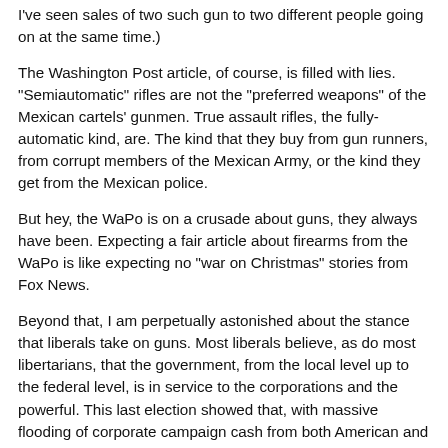I've seen sales of two such gun to two different people going on at the same time.)
The Washington Post article, of course, is filled with lies. "Semiautomatic" rifles are not the "preferred weapons" of the Mexican cartels' gunmen. True assault rifles, the fully-automatic kind, are. The kind that they buy from gun runners, from corrupt members of the Mexican Army, or the kind they get from the Mexican police.
But hey, the WaPo is on a crusade about guns, they always have been. Expecting a fair article about firearms from the WaPo is like expecting no "war on Christmas" stories from Fox News.
Beyond that, I am perpetually astonished about the stance that liberals take on guns. Most liberals believe, as do most libertarians, that the government, from the local level up to the federal level, is in service to the corporations and the powerful. This last election showed that, with massive flooding of corporate campaign cash from both American and foreign companies, which were used to flood the airwaves in